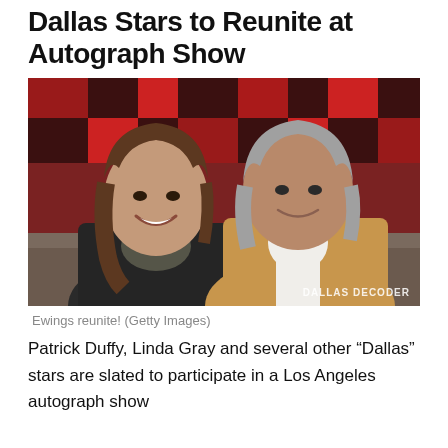Dallas Stars to Reunite at Autograph Show
[Figure (photo): Photo of two people — a woman with brown hair in a dark jacket and a man with gray hair in a tan jacket — smiling together in front of a red patterned background. Watermark reads 'DALLAS DECODER'.]
Ewings reunite! (Getty Images)
Patrick Duffy, Linda Gray and several other “Dallas” stars are slated to participate in a Los Angeles autograph show